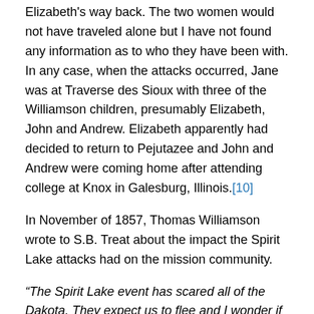Elizabeth's way back. The two women would not have traveled alone but I have not found any information as to who they have been with. In any case, when the attacks occurred, Jane was at Traverse des Sioux with three of the Williamson children, presumably Elizabeth, John and Andrew. Elizabeth apparently had decided to return to Pejutazee and John and Andrew were coming home after attending college at Knox in Galesburg, Illinois.[10]
In November of 1857, Thomas Williamson wrote to S.B. Treat about the impact the Spirit Lake attacks had on the mission community.
“The Spirit Lake event has scared all of the Dakota. They expect us to flee and I wonder if I should send my family away and stay here and if I be killed, so be it. Col. Flandreau asked Riggs and I to assemble some trusted